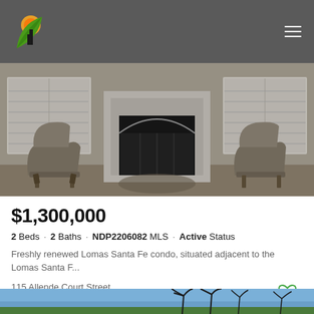[Figure (photo): Interior living room photo showing two ornate upholstered armchairs flanking a white fireplace with decorative iron screen, plantation shuttered windows in background]
$1,300,000
2 Beds · 2 Baths · NDP2206082 MLS · Active Status
Freshly renewed Lomas Santa Fe condo, situated adjacent to the Lomas Santa F...
115 Allende Court Street,
Solana Beach
Listing courtesy of Listing Agent: Bob Fields (Bob Fields) from Listing Office: Realty One Group Pacific.
[Figure (photo): Partial outdoor photo showing palm trees against a blue sky at the bottom of the page]